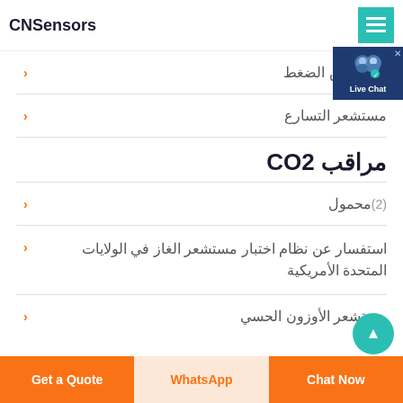CNSensors
مقياس الضغط (4)
مستشعر التسارع
مراقب CO2
محمول (2)
استفسار عن نظام اختبار مستشعر الغاز في الولايات المتحدة الأمريكية
مستشعر الأوزون الحسي
Get a Quote | WhatsApp | Chat Now